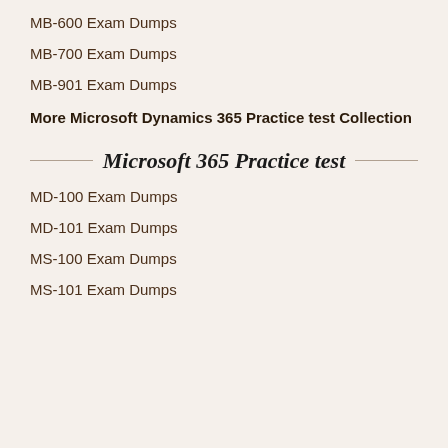MB-600 Exam Dumps
MB-700 Exam Dumps
MB-901 Exam Dumps
More Microsoft Dynamics 365 Practice test Collection
Microsoft 365 Practice test
MD-100 Exam Dumps
MD-101 Exam Dumps
MS-100 Exam Dumps
MS-101 Exam Dumps